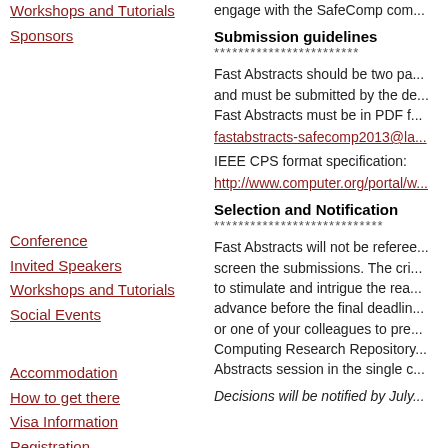Workshops and Tutorials
Sponsors
Conference
Invited Speakers
Workshops and Tutorials
Social Events
Accommodation
How to get there
Visa Information
Registration
engage with the SafeComp com...
Submission guidelines
************************
Fast Abstracts should be two pa... and must be submitted by the de... Fast Abstracts must be in PDF f...
fastabstracts-safecomp2013@la...
IEEE CPS format specification:
http://www.computer.org/portal/w...
Selection and Notification
****************************
Fast Abstracts will not be referee... screen the submissions. The cri... to stimulate and intrigue the rea... advance before the final deadlin... or one of your colleagues to pre... Computing Research Repository... Abstracts session in the single c...
Decisions will be notified by July...